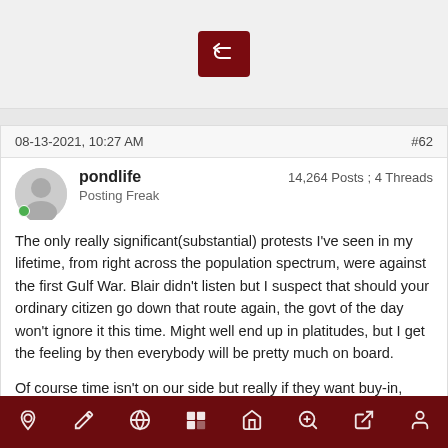[Figure (screenshot): Reply button (dark red background with white reply/undo arrow icon)]
08-13-2021, 10:27 AM
#62
pondlife
Posting Freak
14,264 Posts ; 4 Threads
The only really significant(substantial) protests I've seen in my lifetime, from right across the population spectrum, were against the first Gulf War.  Blair didn't listen but I suspect that should your ordinary citizen go down that route again, the govt of the day won't ignore it this time.  Might well end up in platitudes, but I get the feeling by then everybody will be pretty much on board.
Of course time isn't on our side but really if they want buy-in, more needs to be done to soften the blow!  You can't simply turn off the lights, and
[Figure (photo): Photo of an older man with grey hair, cropped showing face and upper neck, smiling slightly.]